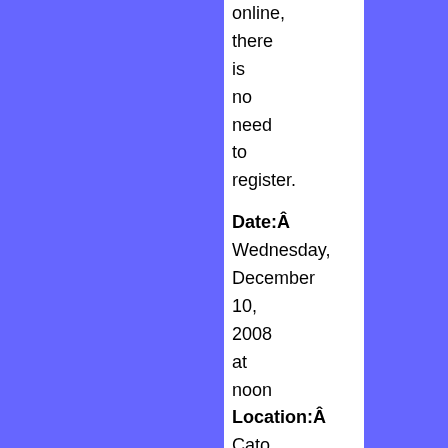online, there is no need to register.
Date:Â Wednesday, December 10, 2008 at noon
Location:Â Cato Institute;Â 1000 Massachusetts Ave., N.W.;Â Washington, D.C. 20001
For